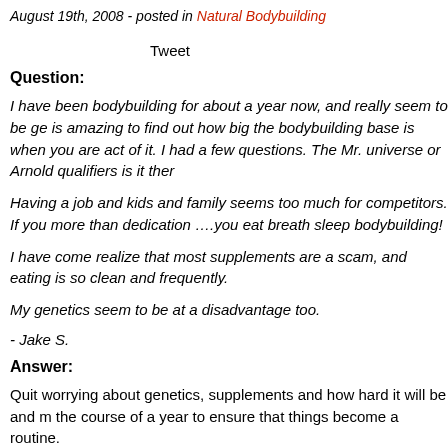August 19th, 2008 - posted in Natural Bodybuilding
Tweet
Question:
I have been bodybuilding for about a year now, and really seem to be ge... is amazing to find out how big the bodybuilding base is when you are act... of it. I had a few questions. The Mr. universe or Arnold qualifiers is it ther...
Having a job and kids and family seems too much for competitors. If you more than dedication ….you eat breath sleep bodybuilding!
I have come realize that most supplements are a scam, and eating is so clean and frequently.
My genetics seem to be at a disadvantage too.
- Jake S.
Answer:
Quit worrying about genetics, supplements and how hard it will be and m... the course of a year to ensure that things become a routine.
I receive all types of replies from skinny guys, women, older guys who gi...